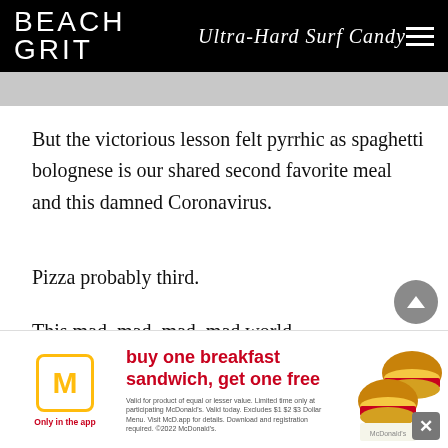BEACH GRIT Ultra-Hard Surf Candy
But the victorious lesson felt pyrrhic as spaghetti bolognese is our shared second favorite meal and this damned Coronavirus.
Pizza probably third.
This mad, mad, mad, mad world.
Well, life goes on, there's always another wave etc. and exactly when I was wondering the next s... sho... each... nt str...
The biggest single day point drop in stock market history.
[Figure (other): McDonald's advertisement overlay: buy one breakfast sandwich, get one free. Only in the app. McDonald's golden arches logo. Food image of breakfast sandwiches. Fine print about validity conditions.]